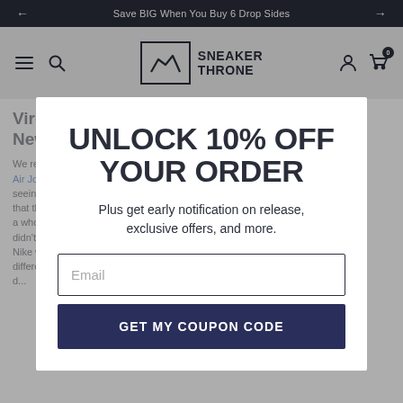Save BIG When You Buy 6 Drop Sides
[Figure (logo): Sneaker Throne logo with mountain/box icon and bold text SNEAKER THRONE]
UNLOCK 10% OFF YOUR ORDER
Plus get early notification on release, exclusive offers, and more.
Email
GET MY COUPON CODE
Virgil Abloh Is Releasing 20 New 1-Of-A-Kind Dunks
We recently talked about the success of the Air Jordan 1 Chicago Off-White collaborations but seeing its second-to-none popularity, it seems that the shoe industry has been brought to a whole new level of hype. In case you didn't know, Virgil's original collaborations with Nike were called "The Ten" and included 10 different sneaker releases. With the success of d...